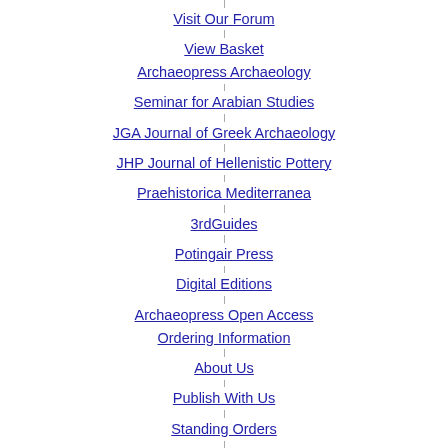Visit Our Forum
View Basket
Archaeopress Archaeology
Seminar for Arabian Studies
JGA Journal of Greek Archaeology
JHP Journal of Hellenistic Pottery
Praehistorica Mediterranea
3rdGuides
Potingair Press
Digital Editions
Archaeopress Open Access
Ordering Information
About Us
Publish With Us
Standing Orders